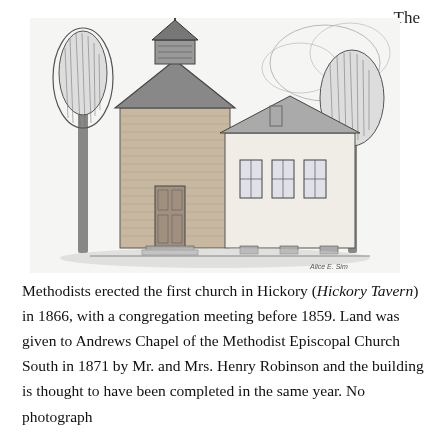The
[Figure (illustration): Black and white pencil sketch of a small historic church building with a steeple/bell tower, surrounded by tall trees on either side. The church has a brick front section and a white wood-sided addition. Steps lead up to the front entrance. Artist signature visible in lower right corner.]
Methodists erected the first church in Hickory (Hickory Tavern) in 1866, with a congregation meeting before 1859. Land was given to Andrews Chapel of the Methodist Episcopal Church South in 1871 by Mr. and Mrs. Henry Robinson and the building is thought to have been completed in the same year. No photograph